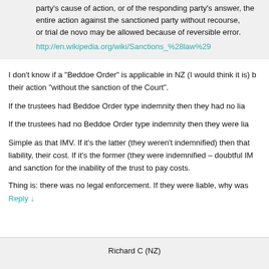party's cause of action, or of the responding party's answer, the entire action against the sanctioned party without recourse, or trial de novo may be allowed because of reversible error.
http://en.wikipedia.org/wiki/Sanctions_%28law%29
I don't know if a "Beddoe Order" is applicable in NZ (I would think it is) but it seems to me the trustees took their action "without the sanction of the Court".
If the trustees had Beddoe Order type indemnity then they had no liability...
If the trustees had no Beddoe Order type indemnity then they were liable...
Simple as that IMV. If it's the latter (they weren't indemnified) then that liability, their cost. If it's the former (they were indemnified – doubtful IMV) and sanction for the inability of the trust to pay costs.
Thing is: there was no legal enforcement. If they were liable, why was...
Reply ↓
Richard C (NZ)